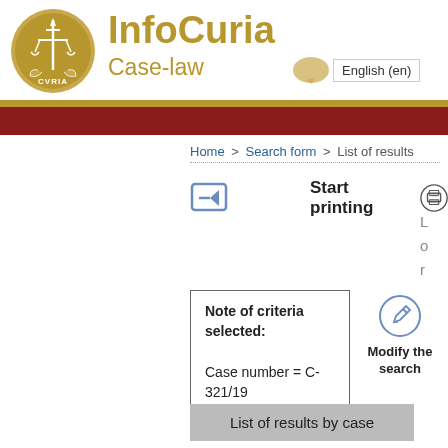[Figure (logo): InfoCuria CVRIA court logo - gold circle with scales of justice and sword]
InfoCuria
Case-law
English (en)
Home > Search form > List of results
Start printing
L o r
Note of criteria selected:
Case number = C-321/19
Modify the search
List of results by case